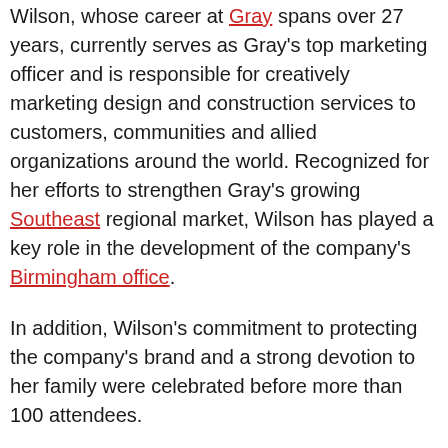Wilson, whose career at Gray spans over 27 years, currently serves as Gray's top marketing officer and is responsible for creatively marketing design and construction services to customers, communities and allied organizations around the world. Recognized for her efforts to strengthen Gray's growing Southeast regional market, Wilson has played a key role in the development of the company's Birmingham office.
In addition, Wilson's commitment to protecting the company's brand and a strong devotion to her family were celebrated before more than 100 attendees.
[Figure (photo): Photograph of people standing in front of a doorway or paneled wall/door background]